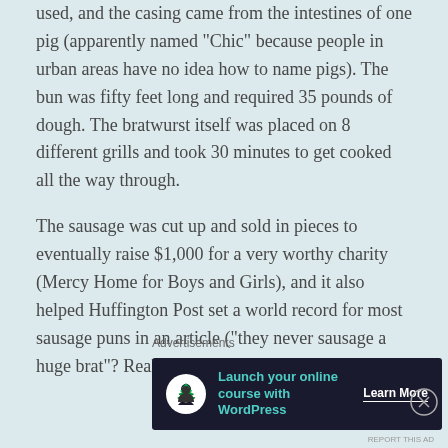used, and the casing came from the intestines of one pig (apparently named "Chic" because people in urban areas have no idea how to name pigs).  The bun was fifty feet long and required 35 pounds of dough.  The bratwurst itself was placed on 8 different grills and took 30 minutes to get cooked all the way through.
The sausage was cut up and sold in pieces to eventually raise $1,000 for a very worthy charity (Mercy Home for Boys and Girls), and it also helped Huffington Post set a world record for most sausage puns in an article ("they never sausage a huge brat"?  Really?
Advertisements
[Figure (other): Advertisement banner: dark background with a circular white icon (person/tree), teal text 'Launch your online course with WordPress', and a 'Learn More' button in white.]